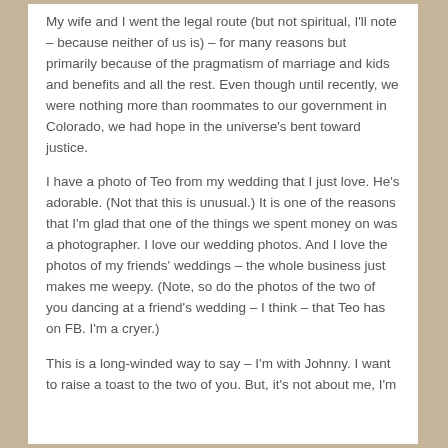My wife and I went the legal route (but not spiritual, I'll note – because neither of us is) – for many reasons but primarily because of the pragmatism of marriage and kids and benefits and all the rest. Even though until recently, we were nothing more than roommates to our government in Colorado, we had hope in the universe's bent toward justice.
I have a photo of Teo from my wedding that I just love. He's adorable. (Not that this is unusual.) It is one of the reasons that I'm glad that one of the things we spent money on was a photographer. I love our wedding photos. And I love the photos of my friends' weddings – the whole business just makes me weepy. (Note, so do the photos of the two of you dancing at a friend's wedding – I think – that Teo has on FB. I'm a cryer.)
This is a long-winded way to say – I'm with Johnny. I want to raise a toast to the two of you. But, it's not about me, I'm